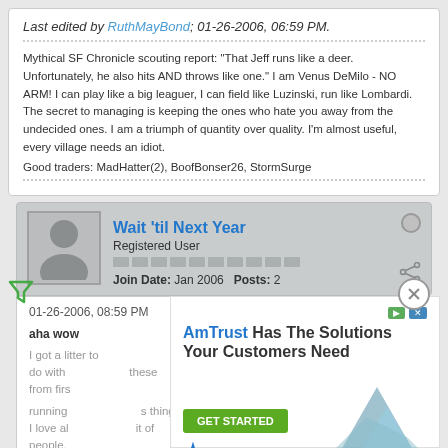Last edited by RuthMayBond; 01-26-2006, 06:59 PM.
Mythical SF Chronicle scouting report: "That Jeff runs like a deer. Unfortunately, he also hits AND throws like one." I am Venus DeMilo - NO ARM! I can play like a big leaguer, I can field like Luzinski, run like Lombardi. The secret to managing is keeping the ones who hate you away from the undecided ones. I am a triumph of quantity over quality. I'm almost useful, every village needs an idiot.
Good traders: MadHatter(2), BoofBonser26, StormSurge
Wait 'til Next Year
Registered User
Join Date: Jan 2006   Posts: 2
01-26-2006, 08:59 PM
#10
aha wow
I got a li...tter to do with...these from firs...
running...s things I love al...it of people.
[Figure (infographic): AmTrust insurance advertisement overlay showing 'AmTrust Has The Solutions Your Customers Need' with GET STARTED button and AmTrust Insurance logo with mountain graphic]